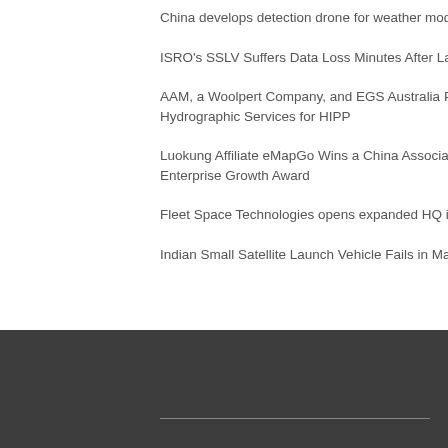China develops detection drone for weather modification
ISRO's SSLV Suffers Data Loss Minutes After Launch
AAM, a Woolpert Company, and EGS Australia Partner to Deliver Bathymetric Lidar, Hydrographic Services for HIPP
Luokung Affiliate eMapGo Wins a China Association for Geospatial Industry and Sciences 2022 Enterprise Growth Award
Fleet Space Technologies opens expanded HQ in Adelaide
Indian Small Satellite Launch Vehicle Fails in Maiden Launch Attempt